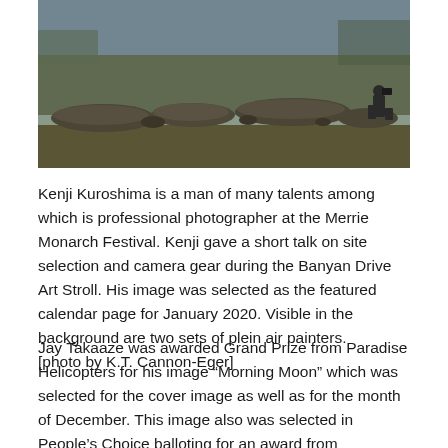[Figure (photo): Outdoor photograph showing a rocky shoreline with large flat rocks near water. A person crouching with a camera is visible on the right side. Trees and water visible in the background.]
Kenji Kuroshima is a man of many talents among which is professional photographer at the Merrie Monarch Festival. Kenji gave a short talk on site selection and camera gear during the Banyan Drive Art Stroll. His image was selected as the featured calendar page for January 2020. Visible in the background are two sets of plein air painters. [photo by K.T. Cannon-Eger]
Jay Takaaze was awarded Grand Prize from Paradise Helicopters for his image “Morning Moon” which was selected for the cover image as well as for the month of December. This image also was selected in People’s Choice balloting for an award from Cunningham Gallery. A